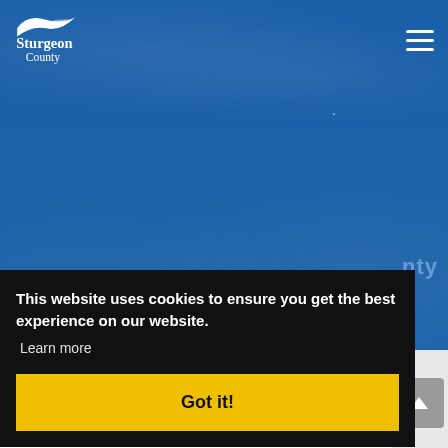[Figure (logo): Sturgeon County logo — white stylized bird/swoosh above text 'Sturgeon County' in white on blue background]
Contact Us
This website uses cookies to ensure you get the best experience on our website.
Learn more
Got it!